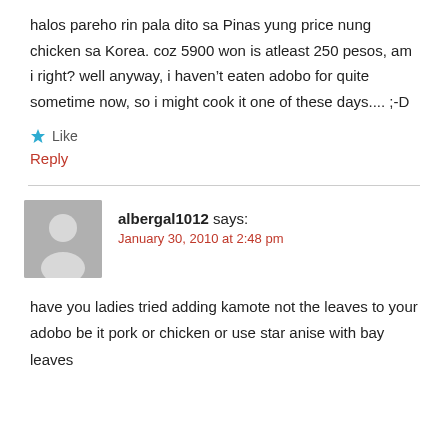halos pareho rin pala dito sa Pinas yung price nung chicken sa Korea. coz 5900 won is atleast 250 pesos, am i right? well anyway, i haven't eaten adobo for quite sometime now, so i might cook it one of these days.... ;-D
★ Like
Reply
albergal1012 says:
January 30, 2010 at 2:48 pm
have you ladies tried adding kamote not the leaves to your adobo be it pork or chicken or use star anise with bay leaves